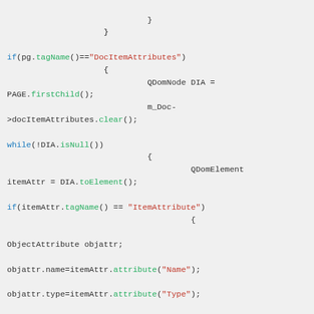Code snippet showing XML parsing logic with QDomNode and QDomElement operations in C++/Qt